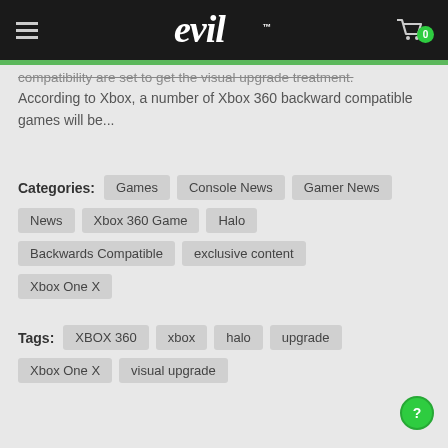evil™ — navigation menu and cart (0 items)
compatibility are set to get the visual upgrade treatment. According to Xbox, a number of Xbox 360 backward compatible games will be...
Categories: Games | Console News | Gamer News | News | Xbox 360 Game | Halo | Backwards Compatible | exclusive content | Xbox One X
Tags: XBOX 360 | xbox | halo | upgrade | Xbox One X | visual upgrade